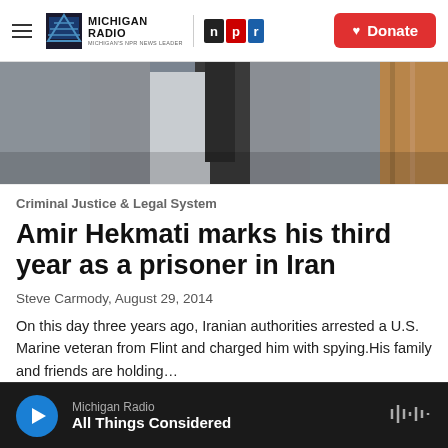Michigan Radio — NPR — Donate
[Figure (photo): Partial photo of a person wearing a suit jacket and tie, cropped to show only the torso and neck area, with a wooden background visible on the right.]
Criminal Justice & Legal System
Amir Hekmati marks his third year as a prisoner in Iran
Steve Carmody,  August 29, 2014
On this day three years ago, Iranian authorities arrested a U.S. Marine veteran from Flint and charged him with spying.His family and friends are holding…
Michigan Radio — All Things Considered